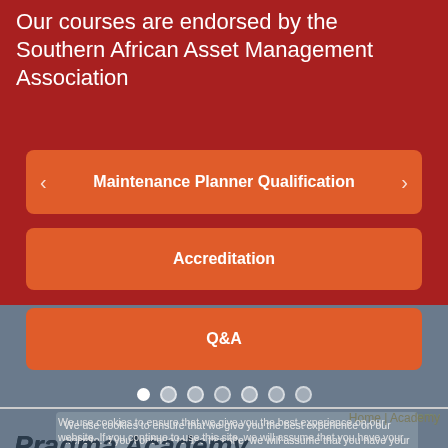Our courses are endorsed by the Southern African Asset Management Association
[Figure (screenshot): Mobile app screenshot showing navigation buttons: Maintenance Planner Qualification (with left/right arrows), Accreditation, Q&A, with dot pagination indicators]
Home | Academy
We use cookies to ensure that we give you the best experience on our website. If you continue to use this site, we will assume that you have your permission to use cookies.
Pragma Academy
smart learning | engineered
Ok
Privacy policy
The Pragma Academy, with its team of engineers